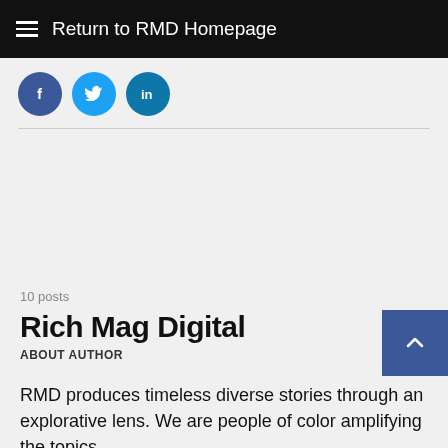Return to RMD Homepage
[Figure (infographic): Social media share icons: Facebook (dark blue circle with f), Twitter (light blue circle with bird), LinkedIn (teal circle with in)]
10 posts
Rich Mag Digital
ABOUT AUTHOR
RMD produces timeless diverse stories through an explorative lens. We are people of color amplifying the topics,